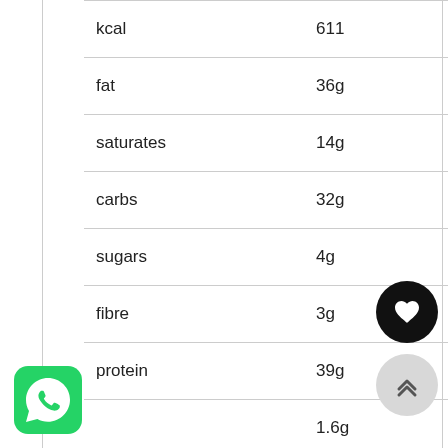|  |  |
| --- | --- |
| kcal | 611 |
| fat | 36g |
| saturates | 14g |
| carbs | 32g |
| sugars | 4g |
| fibre | 3g |
| protein | 39g |
|  | 1.6g |